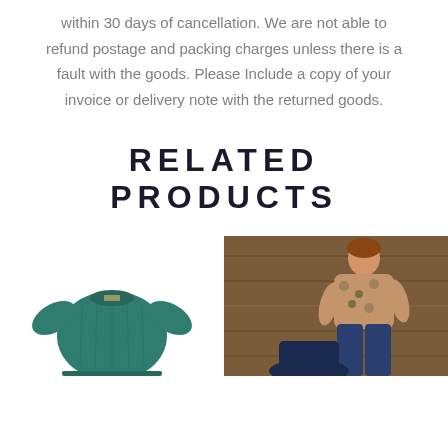within 30 days of cancellation. We are not able to refund postage and packing charges unless there is a fault with the goods. Please Include a copy of your invoice or delivery note with the returned goods.
RELATED PRODUCTS
[Figure (photo): Teal/green knit sweater product photo]
[Figure (photo): Person wearing a floral top with jeans, standing against a wooden background]